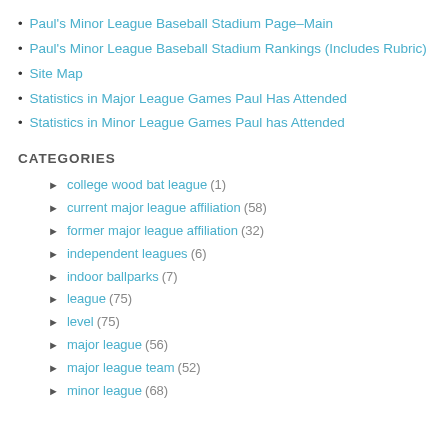Paul's Minor League Baseball Stadium Page–Main
Paul's Minor League Baseball Stadium Rankings (Includes Rubric)
Site Map
Statistics in Major League Games Paul Has Attended
Statistics in Minor League Games Paul has Attended
CATEGORIES
college wood bat league (1)
current major league affiliation (58)
former major league affiliation (32)
independent leagues (6)
indoor ballparks (7)
league (75)
level (75)
major league (56)
major league team (52)
minor league (68)